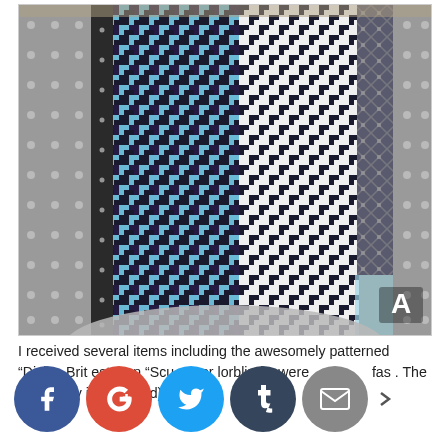[Figure (photo): Close-up photo of fabric swatches laid on a wooden table surface: grey polka dot fabric on the left, dark navy/black and blue houndstooth pattern in the center-left, black and white houndstooth in the center-right, a plaid/argyle strip, and grey polka dot on the right. A letter 'A' label appears in the bottom-right corner of the image.]
I received several items including the awesomely patterned "Divine Brit[...]est Je[...]n "Scu[...], ever[...]lorblind[...]s were fast[...]. The [...]Baroq[...]sey in[...]o" (no[...]ed),